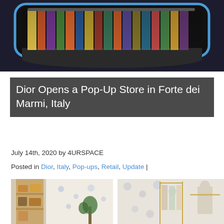[Figure (photo): Interior of a Dior pop-up store showing colorful scarves/clothing displayed on a darkly lit illuminated rack with a rounded dark table surface in foreground, blue-lit frame.]
Dior Opens a Pop-Up Store in Forte dei Marmi, Italy
July 14th, 2020 by 4URSPACE
Posted in Dior, Italy, Pop-ups, Retail, Update |
[Figure (photo): Interior of Dior pop-up store showing wooden shelves with bags and accessories, white marble-like walls, plants.]
[Figure (photo): Interior of Dior pop-up store showing clothing racks with garments and a mannequin against floral-patterned walls.]